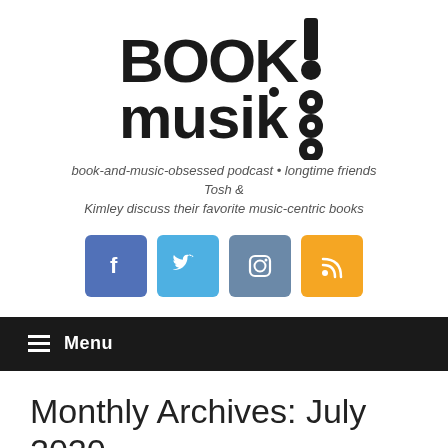[Figure (logo): Book Musik logo — stylized text 'BOOK musik!' with music note and vinyl record graphics in black]
book-and-music-obsessed podcast • longtime friends Tosh & Kimley discuss their favorite music-centric books
[Figure (infographic): Four social media icon buttons: Facebook (blue-purple), Twitter (light blue), Instagram (slate blue), RSS (orange)]
Menu
Monthly Archives: July 2020
Book Musik 026 – Niche: A Memoir in